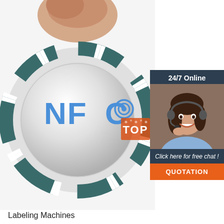[Figure (photo): Close-up photo of a hand holding an NFC (Near Field Communication) circular tag/sticker with the NFC logo in blue text and circular radio wave symbol on a metallic background with teal/dark ring.]
[Figure (photo): Sidebar with 24/7 Online customer service representative (woman with headset smiling), dark navy background, 'Click here for free chat!' text, and an orange QUOTATION button.]
Labeling Machines
Butt cut, or die cut compatible! Available with Photoelectric IR Sensor or Microswitch! Dispensa-Matic U-45 Label Dispenser: Is a heavy-duty semi-automatic electric label dispenser for labels from 3/8'-4.5' widths x 3/8' to any length. This label dispenser advances at over 4' per second standard (Faster than so called High-Speed machines from ...